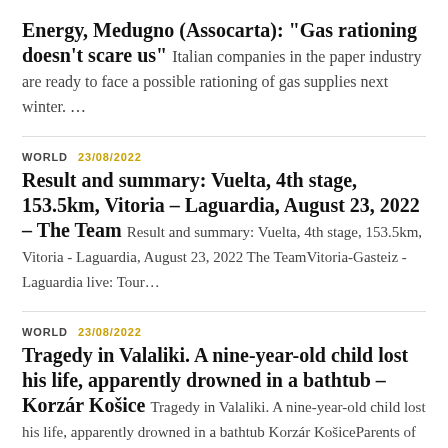Energy, Medugno (Assocarta): “Gas rationing doesn’t scare us”
Italian companies in the paper industry are ready to face a possible rationing of gas supplies next winter. …
WORLD  23/08/2022
Result and summary: Vuelta, 4th stage, 153.5km, Vitoria – Laguardia, August 23, 2022 – The Team
Result and summary: Vuelta, 4th stage, 153.5km, Vitoria - Laguardia, August 23, 2022 The TeamVitoria-Gasteiz - Laguardia live: Tour…
WORLD  23/08/2022
Tragedy in Valaliki. A nine-year-old child lost his life, apparently drowned in a bathtub – Korzár Košice
Tragedy in Valaliki. A nine-year-old child lost his life, apparently drowned in a bathtub Korzár KošiceParents of a…